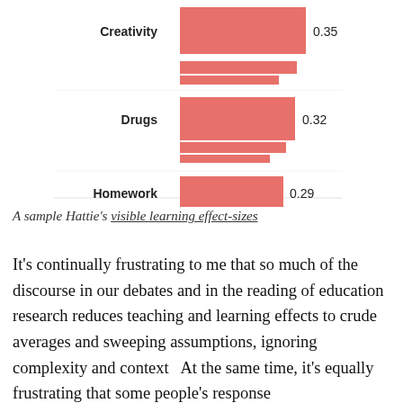[Figure (bar-chart): ]
A sample Hattie's visible learning effect-sizes
It's continually frustrating to me that so much of the discourse in our debates and in the reading of education research reduces teaching and learning effects to crude averages and sweeping assumptions, ignoring complexity and context   At the same time, it's equally frustrating that some people's response